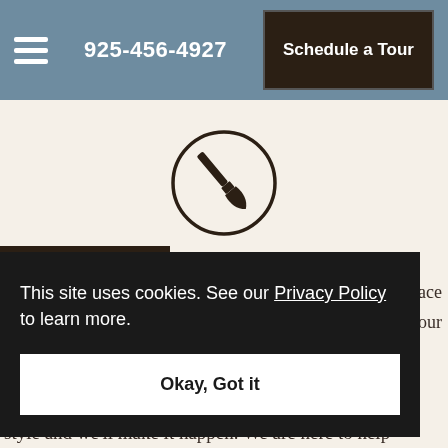925-456-4927  Schedule a Tour
[Figure (illustration): Paint brush icon inside a circle]
SPECIAL ACCENT WALL
This site uses cookies. See our Privacy Policy to learn more.
Okay, Got it
space your style and we'll make it happen. We are here to help